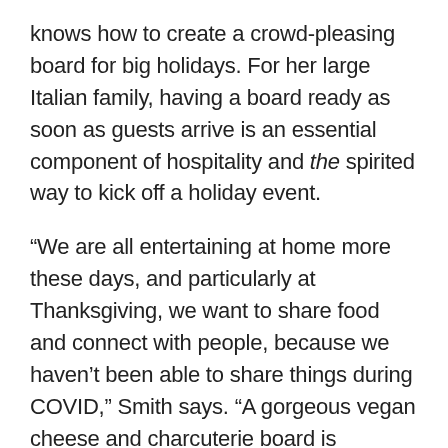knows how to create a crowd-pleasing board for big holidays. For her large Italian family, having a board ready as soon as guests arrive is an essential component of hospitality and the spirited way to kick off a holiday event.
“We are all entertaining at home more these days, and particularly at Thanksgiving, we want to share food and connect with people, because we haven’t been able to share things during COVID,” Smith says. “A gorgeous vegan cheese and charcuterie board is something everyone can eat, so there’s an inclusive, unifying element to it.”
From fall-themed color schemes to which vegan cheese and charcuterie you should buy, here are her go-to tips for creating a mouthwatering smorgasbord on the biggest food day of the year.